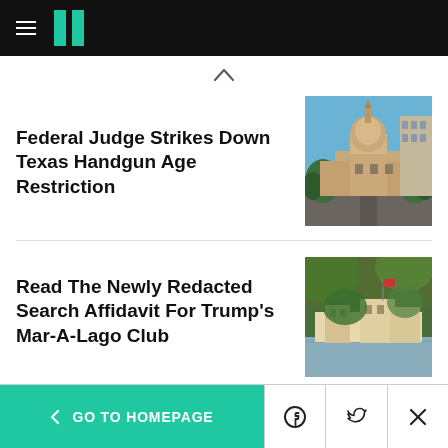HuffPost navigation header with hamburger menu and logo
Federal Judge Strikes Down Texas Handgun Age Restriction
[Figure (photo): Photo of the Texas State Capitol building with blue sky and surrounding trees and streets]
Read The Newly Redacted Search Affidavit For Trump's Mar-A-Lago Club
[Figure (photo): Aerial or waterfront photo of Mar-A-Lago estate surrounded by water and greenery]
< GO TO HOMEPAGE | Facebook icon | Twitter icon | X/close icon